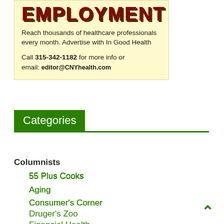[Figure (other): Yellow advertisement box for employment listings with red bold 'EMPLOYMENT' heading, text about advertising with In Good Health, phone number 315-342-1182, and email editor@CNYhealth.com]
Categories
Columnists
55 Plus Cooks
Aging
Consumer's Corner
Druger's Zoo
Financial Health